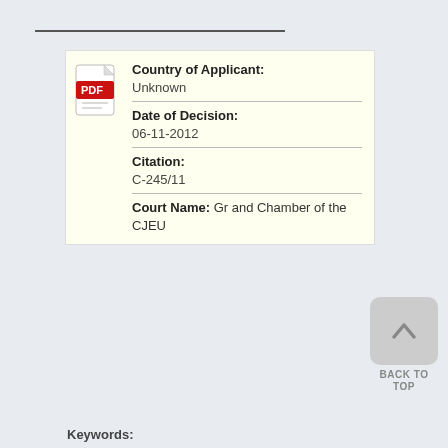| Country of Applicant: | Unknown |
| Date of Decision: | 06-11-2012 |
| Citation: | C-245/11 |
| Court Name: | Grand Chamber of the CJEU |
Keywords: [truncated]